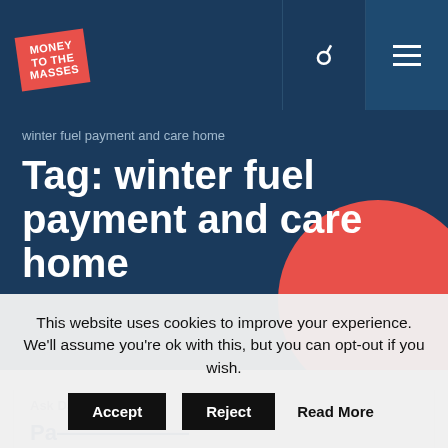[Figure (logo): Money to the Masses logo - red sign with white text on dark navy navigation bar with search and menu icons]
winter fuel payment and care home
Tag: winter fuel payment and care home
Ask Damien
This website uses cookies to improve your experience. We'll assume you're ok with this, but you can opt-out if you wish.
Accept  Reject  Read More